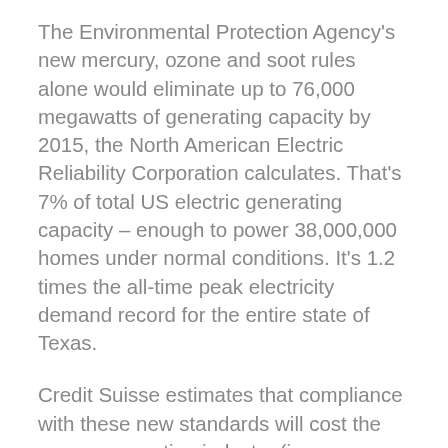The Environmental Protection Agency's new mercury, ozone and soot rules alone would eliminate up to 76,000 megawatts of generating capacity by 2015, the North American Electric Reliability Corporation calculates. That's 7% of total US electric generating capacity – enough to power 38,000,000 homes under normal conditions. It's 1.2 times the all-time peak electricity demand record for the entire state of Texas.
Credit Suisse estimates that compliance with these new standards will cost the power generation industry (i.e., electricity consumers) $150 billion by 2020, to retrofit coal plants or replace them with natural gas-fired units. NERA Economic Consulting calculates that meeting EPA's proposed new 60 ppb ozone standard alone would impose an annual cost of $1-trillion per year and cumulative losses of 7.3 million jobs; create hundreds of new air quality non-